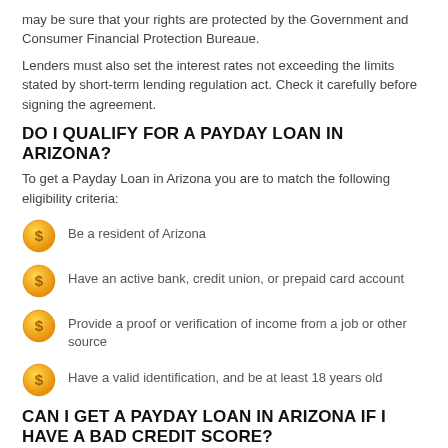may be sure that your rights are protected by the Government and Consumer Financial Protection Bureaue.
Lenders must also set the interest rates not exceeding the limits stated by short-term lending regulation act. Check it carefully before signing the agreement.
DO I QUALIFY FOR A PAYDAY LOAN IN ARIZONA?
To get a Payday Loan in Arizona you are to match the following eligibility criteria:
Be a resident of Arizona
Have an active bank, credit union, or prepaid card account
Provide a proof or verification of income from a job or other source
Have a valid identification, and be at least 18 years old
CAN I GET A PAYDAY LOAN IN ARIZONA IF I HAVE A BAD CREDIT SCORE?